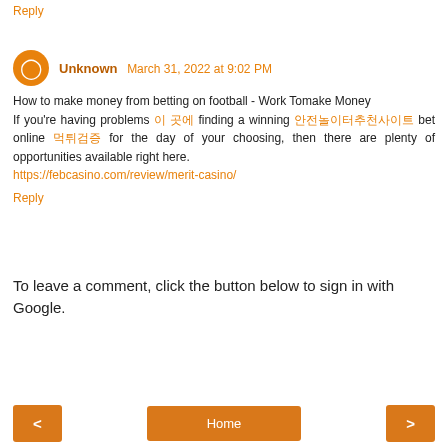Reply
Unknown March 31, 2022 at 9:02 PM
How to make money from betting on football - Work Tomake Money
If you're having problems [korean] finding a winning [korean] bet online [korean] for the day of your choosing, then there are plenty of opportunities available right here. https://febcasino.com/review/merit-casino/
Reply
To leave a comment, click the button below to sign in with Google.
SIGN IN WITH GOOGLE
< Home >